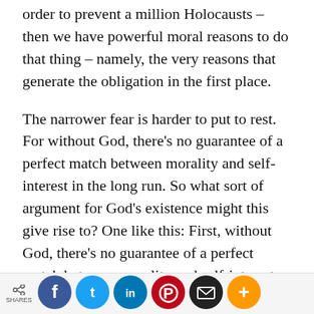order to prevent a million Holocausts – then we have powerful moral reasons to do that thing – namely, the very reasons that generate the obligation in the first place.
The narrower fear is harder to put to rest. For without God, there's no guarantee of a perfect match between morality and self-interest in the long run. So what sort of argument for God's existence might this give rise to? One like this: First, without God, there's no guarantee of a perfect match between morality and self-interest